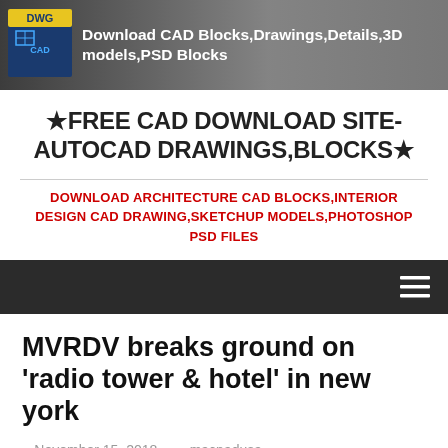Download CAD Blocks,Drawings,Details,3D models,PSD Blocks
★FREE CAD DOWNLOAD SITE-AUTOCAD DRAWINGS,BLOCKS★
DOWNLOAD ARCHITECTURE CAD BLOCKS,INTERIOR DESIGN CAD DRAWING,SKETCHUP MODELS,PHOTOSHOP PSD FILES
MVRDV breaks ground on 'radio tower & hotel' in new york
November 15, 2018   macnadusa